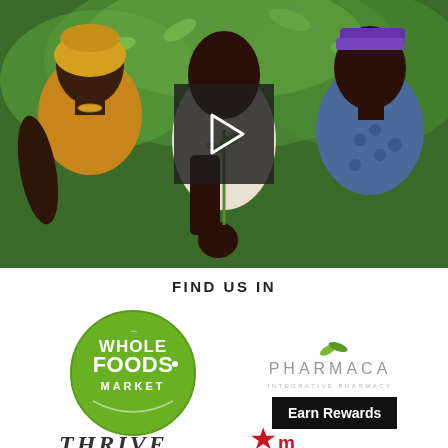[Figure (photo): Three African women smiling and examining plants in a lush green garden setting, with a video play button overlay in the center of the image.]
FIND US IN
[Figure (logo): Whole Foods Market logo — green circle with white text]
[Figure (logo): Pharmaca Integrative Pharmacy logo — green leaf above the word PHARMACA with subtitle INTEGRATIVE PHARMACY]
[Figure (logo): Thrive logo — stylized italic serif text]
[Figure (logo): Meijer logo — red star with red meijer text partially visible]
Earn Rewards